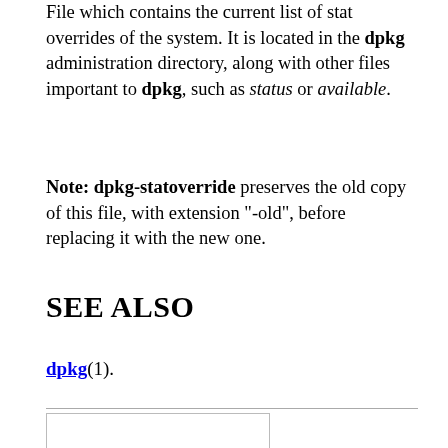File which contains the current list of stat overrides of the system. It is located in the dpkg administration directory, along with other files important to dpkg, such as status or available.
Note: dpkg-statoverride preserves the old copy of this file, with extension "-old", before replacing it with the new one.
SEE ALSO
dpkg(1).